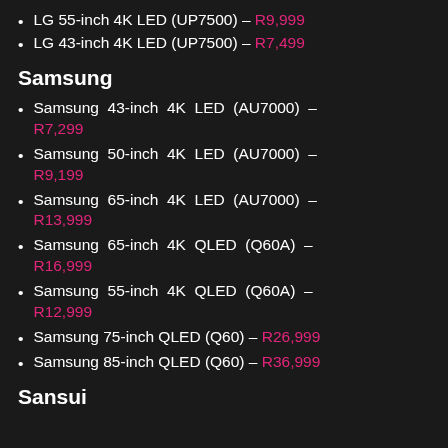LG 55-inch 4K LED (UP7500) – R9,999
LG 43-inch 4K LED (UP7500) – R7,499
Samsung
Samsung 43-inch 4K LED (AU7000) – R7,299
Samsung 50-inch 4K LED (AU7000) – R9,199
Samsung 65-inch 4K LED (AU7000) – R13,999
Samsung 65-inch 4K QLED (Q60A) – R16,999
Samsung 55-inch 4K QLED (Q60A) – R12,999
Samsung 75-inch QLED (Q60) – R26,999
Samsung 85-inch QLED (Q60) – R36,999
Sansui